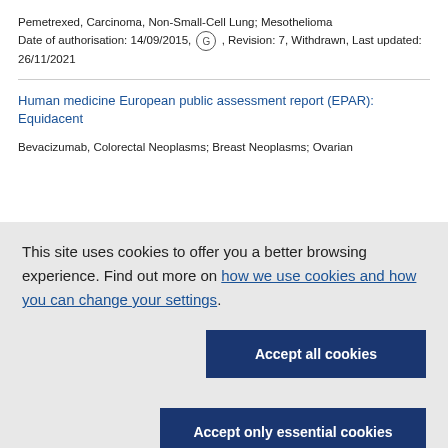Pemetrexed, Carcinoma, Non-Small-Cell Lung; Mesothelioma
Date of authorisation: 14/09/2015, [G], Revision: 7, Withdrawn, Last updated: 26/11/2021
Human medicine European public assessment report (EPAR): Equidacent
Bevacizumab, Colorectal Neoplasms; Breast Neoplasms; Ovarian
This site uses cookies to offer you a better browsing experience. Find out more on how we use cookies and how you can change your settings.
Accept all cookies
Accept only essential cookies